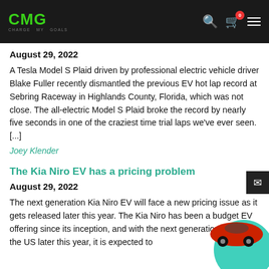CMG
August 29, 2022
A Tesla Model S Plaid driven by professional electric vehicle driver Blake Fuller recently dismantled the previous EV hot lap record at Sebring Raceway in Highlands County, Florida, which was not close. The all-electric Model S Plaid broke the record by nearly five seconds in one of the craziest time trial laps we've ever seen. [...]
Joey Klender
The Kia Niro EV has a pricing problem
August 29, 2022
The next generation Kia Niro EV will face a new pricing issue as it gets released later this year. The Kia Niro has been a budget EV offering since its inception, and with the next generation coming to the US later this year, it is expected to